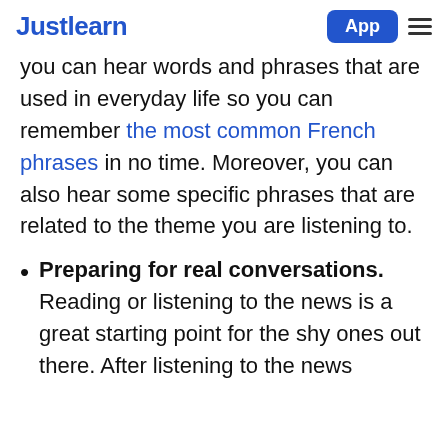Justlearn | App
you can hear words and phrases that are used in everyday life so you can remember the most common French phrases in no time. Moreover, you can also hear some specific phrases that are related to the theme you are listening to.
Preparing for real conversations. Reading or listening to the news is a great starting point for the shy ones out there. After listening to the news